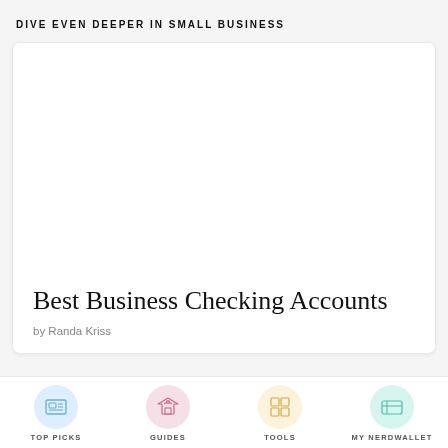DIVE EVEN DEEPER IN SMALL BUSINESS
[Figure (illustration): White card panel with blank image area at top, then article title and author below]
Best Business Checking Accounts
by Randa Kriss
TOP PICKS   GUIDES   TOOLS   MY NERDWALLET